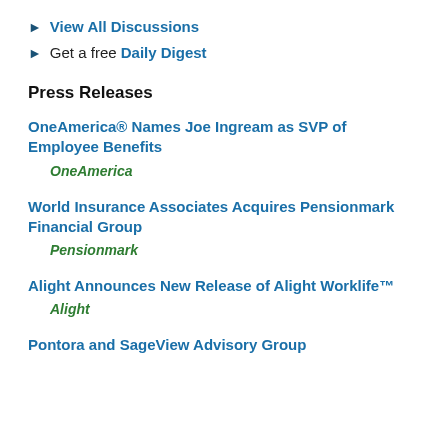View All Discussions
Get a free Daily Digest
Press Releases
OneAmerica® Names Joe Ingream as SVP of Employee Benefits
OneAmerica
World Insurance Associates Acquires Pensionmark Financial Group
Pensionmark
Alight Announces New Release of Alight Worklife™
Alight
Pontora and SageView Advisory Group